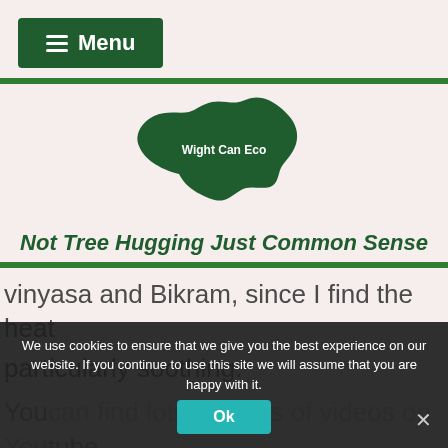[Figure (logo): Menu button with hamburger icon, dark green background, white text reading 'Menu']
[Figure (logo): Green map silhouette of Isle of Wight with text 'Wight Can Eco' — Wight Can Eco logo]
Not Tree Hugging Just Common Sense
vinyasa and Bikram, since I find the heat
particularly soothing.
You can find lots of kinds of videos on Youtube, and odds are, when life closer to normal
We use cookies to ensure that we give you the best experience on our website. If you continue to use this site we will assume that you are happy with it.